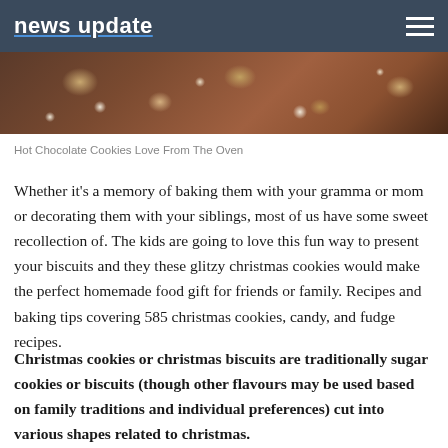news update
[Figure (photo): Close-up photo of chocolate cookies with white chocolate chips, appearing dark brown and rich.]
Hot Chocolate Cookies Love From The Oven
Whether it's a memory of baking them with your gramma or mom or decorating them with your siblings, most of us have some sweet recollection of. The kids are going to love this fun way to present your biscuits and they these glitzy christmas cookies would make the perfect homemade food gift for friends or family. Recipes and baking tips covering 585 christmas cookies, candy, and fudge recipes.
Christmas cookies or christmas biscuits are traditionally sugar cookies or biscuits (though other flavours may be used based on family traditions and individual preferences) cut into various shapes related to christmas.